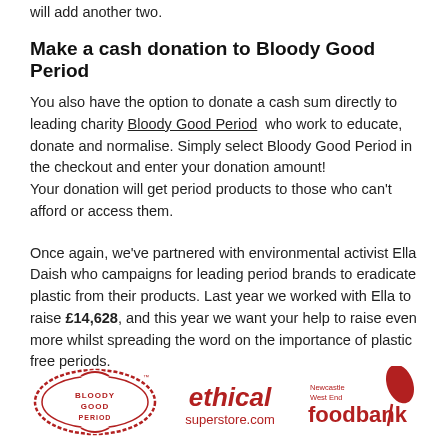will add another two.
Make a cash donation to Bloody Good Period
You also have the option to donate a cash sum directly to leading charity Bloody Good Period who work to educate, donate and normalise. Simply select Bloody Good Period in the checkout and enter your donation amount!
Your donation will get period products to those who can't afford or access them.
Once again, we've partnered with environmental activist Ella Daish who campaigns for leading period brands to eradicate plastic from their products. Last year we worked with Ella to raise £14,628, and this year we want your help to raise even more whilst spreading the word on the importance of plastic free periods.
[Figure (logo): Bloody Good Period circular badge logo in red]
[Figure (logo): ethical superstore.com logo in red text]
[Figure (logo): Newcastle West End foodbank logo in red with leaf icon]